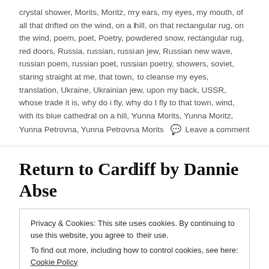crystal shower, Morits, Moritz, my ears, my eyes, my mouth, of all that drifted on the wind, on a hill, on that rectangular rug, on the wind, poem, poet, Poetry, powdered snow, rectangular rug, red doors, Russia, russian, russian jew, Russian new wave, russian poem, russian poet, russian poetry, showers, soviet, staring straight at me, that town, to cleanse my eyes, translation, Ukraine, Ukrainian jew, upon my back, USSR, whose trade it is, why do i fly, why do I fly to that town, wind, with its blue cathedral on a hill, Yunna Morits, Yunna Moritz, Yunna Petrovna, Yunna Petrovna Morits
Leave a comment
Return to Cardiff by Dannie Abse
Privacy & Cookies: This site uses cookies. By continuing to use this website, you agree to their use.
To find out more, including how to control cookies, see here: Cookie Policy
Close and accept
First everything. Faded torments: self-indulgent pity